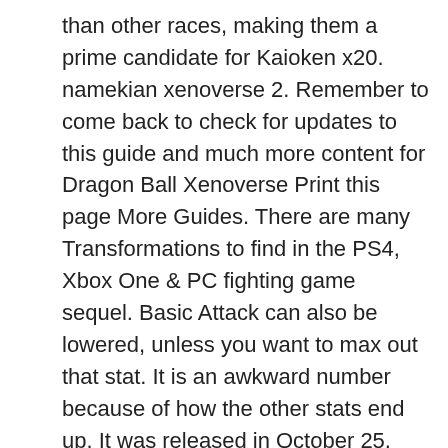than other races, making them a prime candidate for Kaioken x20. namekian xenoverse 2. Remember to come back to check for updates to this guide and much more content for Dragon Ball Xenoverse Print this page More Guides. There are many Transformations to find in the PS4, Xbox One & PC fighting game sequel. Basic Attack can also be lowered, unless you want to max out that stat. It is an awkward number because of how the other stats end up. It was released in October 25, 2016 for PlayStation 4 and Xbox One, and on October 27 for Microsoft Windows.In Japan, Dragon Ball Xenoverse 2 was initially only available on PlayStation 4. https://dbxv2.fandom.com/wiki/Namekian?oldid=1113, Light String (9L): First two attacks have the Namekians slap their opponent with their